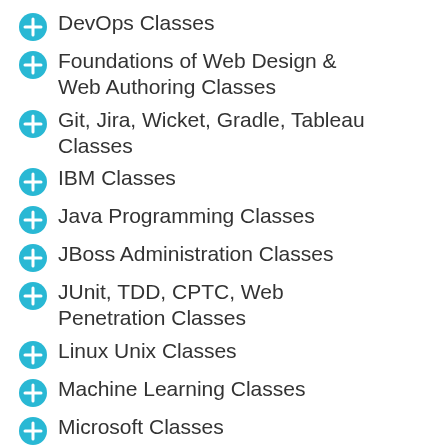DevOps Classes
Foundations of Web Design & Web Authoring Classes
Git, Jira, Wicket, Gradle, Tableau Classes
IBM Classes
Java Programming Classes
JBoss Administration Classes
JUnit, TDD, CPTC, Web Penetration Classes
Linux Unix Classes
Machine Learning Classes
Microsoft Classes
Microsoft Development Classes
Microsoft SQL Server Classes